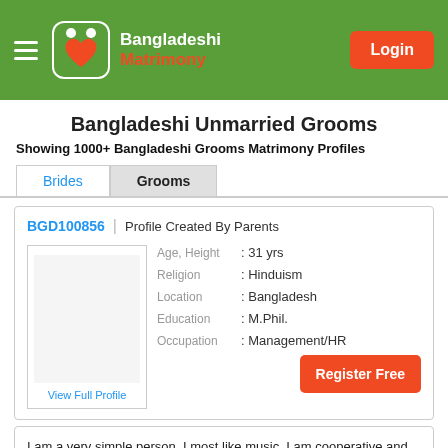Bangladeshi Matrimony — Login
Bangladeshi Unmarried Grooms
Showing 1000+ Bangladeshi Grooms Matrimony Profiles
Brides
Grooms
| Field | Value |
| --- | --- |
| BGD100856 | Profile Created By Parents |  |
| Age, Height | : 31 yrs |
| Religion | : Hinduism |
| Location | : Bangladesh |
| Education | : M.Phil. |
| Occupation | : Management/HR |
View Full Profile
Register Free
I am a very simple person. I most like music. I am cooperative and very frank